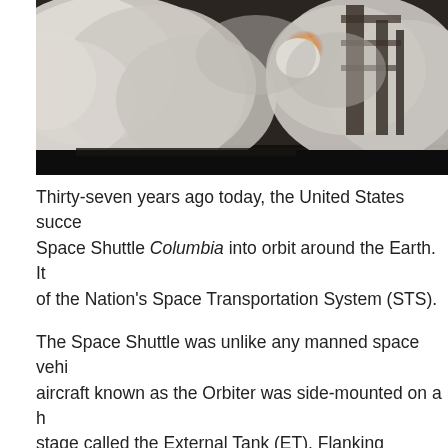[Figure (photo): Space shuttle launch with large clouds of smoke and steam, bright engine fire visible, launch structure in background]
Thirty-seven years ago today, the United States successfully launched Space Shuttle Columbia into orbit around the Earth. It was the first flight of the Nation's Space Transportation System (STS).
The Space Shuttle was unlike any manned space vehicle before it. A winged aircraft known as the Orbiter was side-mounted on a hydrogen/oxygen propellant stage called the External Tank (ET). Flanking opposing sides of the ET was a pair of Solid Rocket Boosters (SRB). The Orbiter, SRBs and ET measured 122 feet, 149 feet and 154 feet in length, respectively.
The Space Shuttle system was conceived with an emp